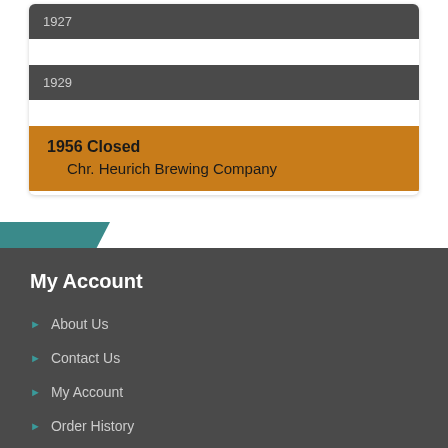1927
1929
1956 Closed
    Chr. Heurich Brewing Company
My Account
About Us
Contact Us
My Account
Order History